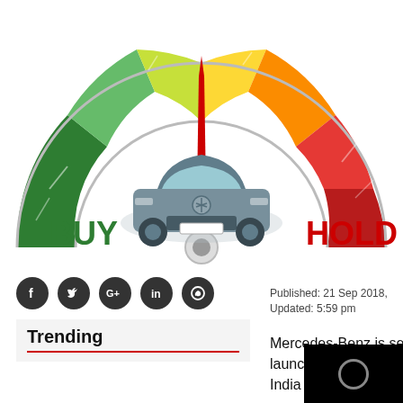[Figure (infographic): Speedometer/gauge infographic with green-to-red arc, needle pointing near top center. A Mercedes-Benz C-Class car sits in the center of the gauge. 'BUY' in bold green text on lower left, 'HOLD' in bold red text on lower right.]
[Figure (infographic): Row of five dark circular social media icons: Facebook (f), Twitter (bird), Google+ (G+), LinkedIn (in), WhatsApp (phone).]
Trending
Published: 21 Sep 2018, Updated: 5:59 pm
Mercedes-Benz is set to launch the C-Class facelift in India on Sep. The C-Class' a